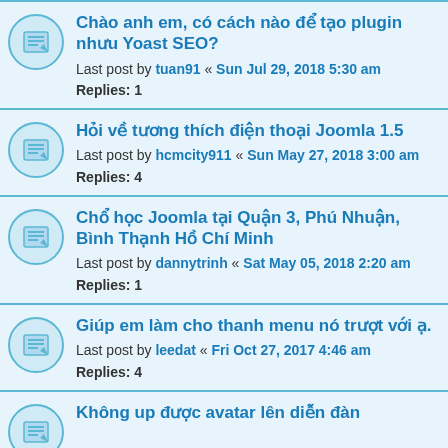Chào anh em, có cách nào để tạo plugin nhưu Yoast SEO?
Last post by tuan91 « Sun Jul 29, 2018 5:30 am
Replies: 1
Hỏi về tương thích điện thoại Joomla 1.5
Last post by hcmcity911 « Sun May 27, 2018 3:00 am
Replies: 4
Chổ học Joomla tại Quận 3, Phú Nhuận, Bình Thạnh Hồ Chí Minh
Last post by dannytrinh « Sat May 05, 2018 2:20 am
Replies: 1
Giúp em làm cho thanh menu nó trượt với ạ.
Last post by leedat « Fri Oct 27, 2017 4:46 am
Replies: 4
Không up được avatar lên diễn đàn